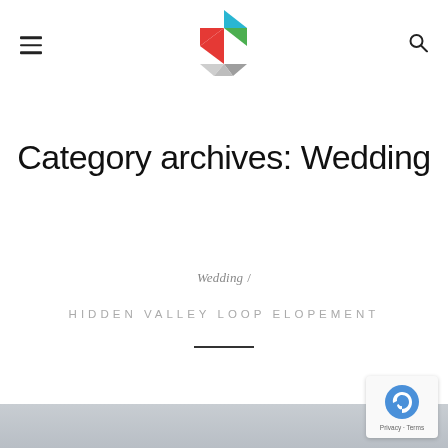[Figure (logo): Colorful tangram-style geometric logo with triangles in cyan, green, red, and gray forming a stylized shape]
Category archives: Wedding
Wedding /
HIDDEN VALLEY LOOP ELOPEMENT